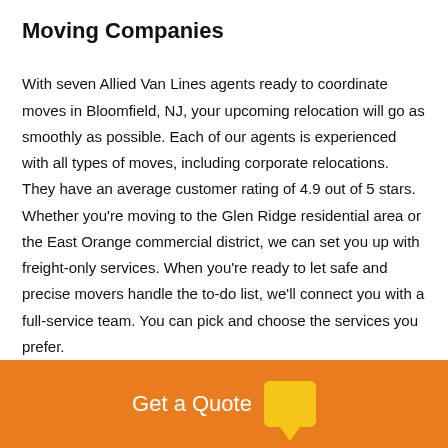Moving Companies
With seven Allied Van Lines agents ready to coordinate moves in Bloomfield, NJ, your upcoming relocation will go as smoothly as possible. Each of our agents is experienced with all types of moves, including corporate relocations. They have an average customer rating of 4.9 out of 5 stars. Whether you're moving to the Glen Ridge residential area or the East Orange commercial district, we can set you up with freight-only services. When you're ready to let safe and precise movers handle the to-do list, we'll connect you with a full-service team. You can pick and choose the services you prefer.
[Figure (other): Orange footer bar with 'Get a Quote' text in white and a yellow speech bubble icon]